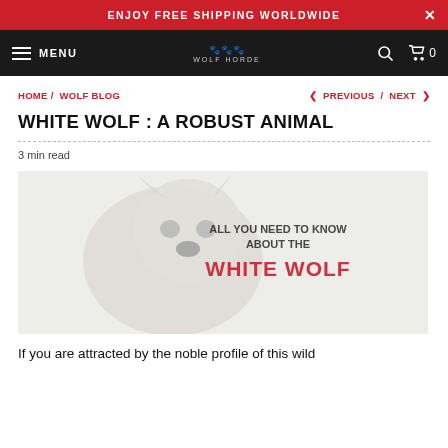ENJOY FREE SHIPPING WORLDWIDE
MENU  WOLF HORDE  0
HOME / WOLF BLOG   < PREVIOUS / NEXT >
WHITE WOLF : A ROBUST ANIMAL
3 min read
[Figure (photo): Blurred image of a white wolf with overlaid text reading 'All you need to know about the White Wolf' in red and dark letters on a light background]
If you are attracted by the noble profile of this wild